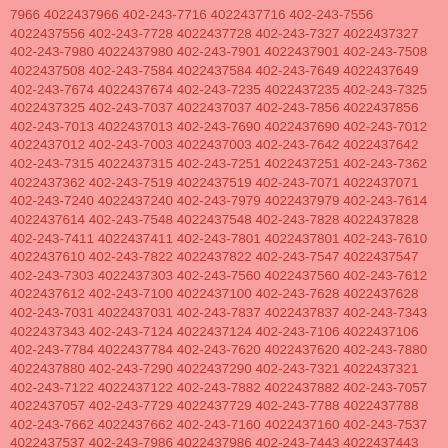7966 4022437966 402-243-7716 4022437716 402-243-7556 4022437556 402-243-7728 4022437728 402-243-7327 4022437327 402-243-7980 4022437980 402-243-7901 4022437901 402-243-7508 4022437508 402-243-7584 4022437584 402-243-7649 4022437649 402-243-7674 4022437674 402-243-7235 4022437235 402-243-7325 4022437325 402-243-7037 4022437037 402-243-7856 4022437856 402-243-7013 4022437013 402-243-7690 4022437690 402-243-7012 4022437012 402-243-7003 4022437003 402-243-7642 4022437642 402-243-7315 4022437315 402-243-7251 4022437251 402-243-7362 4022437362 402-243-7519 4022437519 402-243-7071 4022437071 402-243-7240 4022437240 402-243-7979 4022437979 402-243-7614 4022437614 402-243-7548 4022437548 402-243-7828 4022437828 402-243-7411 4022437411 402-243-7801 4022437801 402-243-7610 4022437610 402-243-7822 4022437822 402-243-7547 4022437547 402-243-7303 4022437303 402-243-7560 4022437560 402-243-7612 4022437612 402-243-7100 4022437100 402-243-7628 4022437628 402-243-7031 4022437031 402-243-7837 4022437837 402-243-7343 4022437343 402-243-7124 4022437124 402-243-7106 4022437106 402-243-7784 4022437784 402-243-7620 4022437620 402-243-7880 4022437880 402-243-7290 4022437290 402-243-7321 4022437321 402-243-7122 4022437122 402-243-7882 4022437882 402-243-7057 4022437057 402-243-7729 4022437729 402-243-7788 4022437788 402-243-7662 4022437662 402-243-7160 4022437160 402-243-7537 4022437537 402-243-7986 4022437986 402-243-7443 4022437443 402-243-7718 4022437718 402-243-7518 4022437518 402-243-7420 4022437420 402-243-